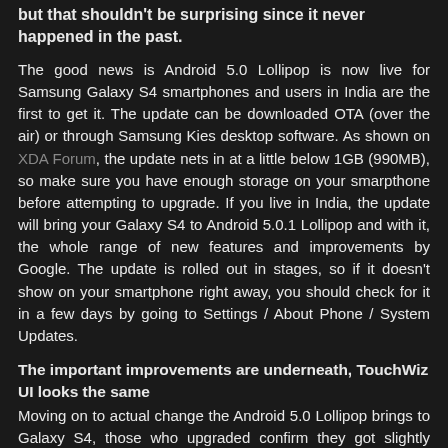but that shouldn't be surprising since it never happened in the past.
The good news is Android 5.0 Lollipop is now live for Samsung Galaxy S4 smartphones and users in India are the first to get it. The update can be downloaded OTA (over the air) or through Samsung Kies desktop software. As shown on XDA Forum, the update nets in at a little below 1GB (990MB), so make sure you have enough storage on your smarpthone before attempting to upgrade. If you live in India, the update will bring your Galaxy S4 to Android 5.0.1 Lollipop and with it, the whole range of new features and improvements by Google. The update is rolled out in stages, so if it doesn't show on your smartphone right away, you should check for it in a few days by going to Settings / About Phone / System Updates.
The important improvements are underneath, TouchWiz UI looks the same
Moving on to actual change the Android 5.0 Lollipop brings to Galaxy S4, those who upgraded confirm they got slightly better battery life and a bit more speed when it comes to navigating the menus. However, the TouchWiz UI has